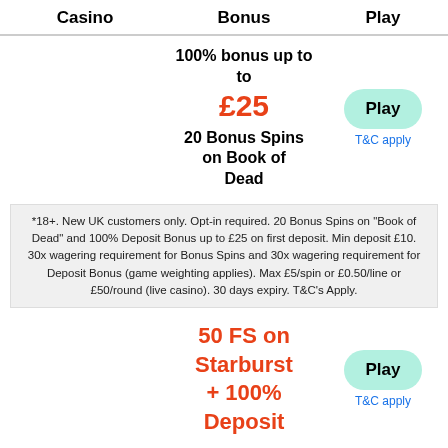| Casino | Bonus | Play |
| --- | --- | --- |
|  | 100% bonus up to £25
20 Bonus Spins on Book of Dead | Play
T&C apply |
|  | 50 FS on Starburst + 100% Deposit | Play
T&C apply |
*18+. New UK customers only. Opt-in required. 20 Bonus Spins on "Book of Dead" and 100% Deposit Bonus up to £25 on first deposit. Min deposit £10. 30x wagering requirement for Bonus Spins and 30x wagering requirement for Deposit Bonus (game weighting applies). Max £5/spin or £0.50/line or £50/round (live casino). 30 days expiry. T&C's Apply.